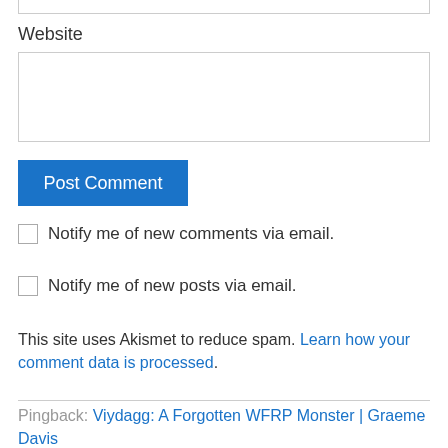Website
Post Comment
Notify me of new comments via email.
Notify me of new posts via email.
This site uses Akismet to reduce spam. Learn how your comment data is processed.
Pingback: Viydagg: A Forgotten WFRP Monster | Graeme Davis